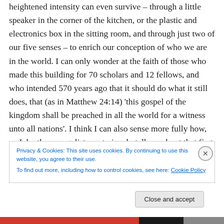heightened intensity can even survive – through a little speaker in the corner of the kitchen, or the plastic and electronics box in the sitting room, and through just two of our five senses – to enrich our conception of who we are in the world. I can only wonder at the faith of those who made this building for 70 scholars and 12 fellows, and who intended 570 years ago that it should do what it still does, that (as in Matthew 24:14) 'this gospel of the kingdom shall be preached in all the world for a witness unto all nations'. I think I can also sense more fully how, as John the evangelist mysteriously tells us about that first
Privacy & Cookies: This site uses cookies. By continuing to use this website, you agree to their use.
To find out more, including how to control cookies, see here: Cookie Policy
Close and accept